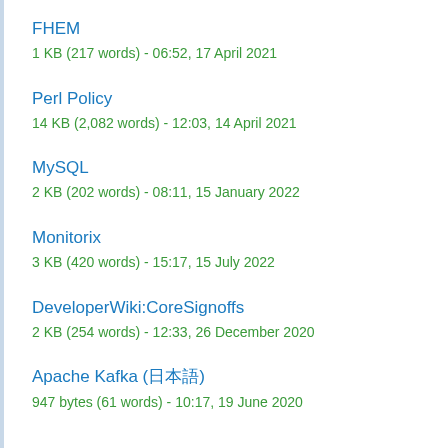FHEM
1 KB (217 words) - 06:52, 17 April 2021
Perl Policy
14 KB (2,082 words) - 12:03, 14 April 2021
MySQL
2 KB (202 words) - 08:11, 15 January 2022
Monitorix
3 KB (420 words) - 15:17, 15 July 2022
DeveloperWiki:CoreSignoffs
2 KB (254 words) - 12:33, 26 December 2020
Apache Kafka (日本語)
947 bytes (61 words) - 10:17, 19 June 2020